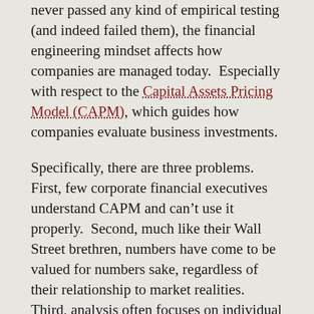never passed any kind of empirical testing (and indeed failed them), the financial engineering mindset affects how companies are managed today.  Especially with respect to the Capital Assets Pricing Model (CAPM), which guides how companies evaluate business investments.
Specifically, there are three problems.  First, few corporate financial executives understand CAPM and can't use it properly.  Second, much like their Wall Street brethren, numbers have come to be valued for numbers sake, regardless of their relationship to market realities.  Third, analysis often focuses on individual investments and ignores portfolios.
This last mistake is particularly pervasive, because Wall Street's models penalize volatility, a measure of risk.  However, risk averse behavior is often self